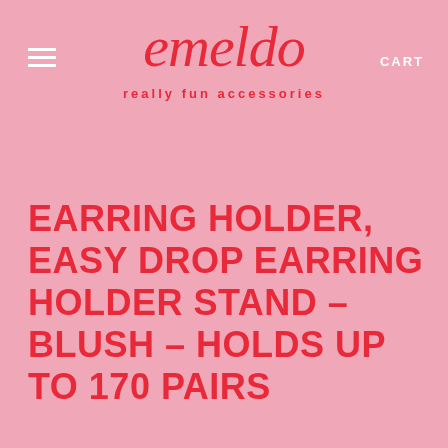emeldo
really fun accessories
EARRING HOLDER, EASY DROP EARRING HOLDER STAND – BLUSH – HOLDS UP TO 170 PAIRS